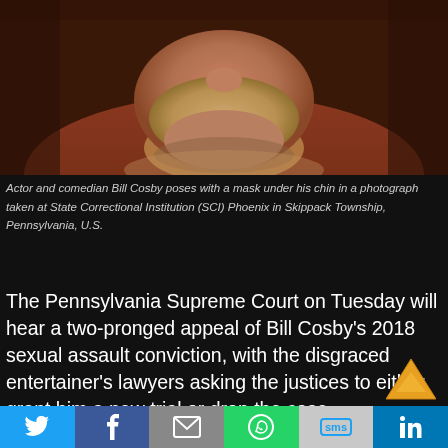[Figure (photo): Close-up photograph of Bill Cosby wearing a mask under his chin, taken at State Correctional Institution (SCI) Phoenix in Skippack Township, Pennsylvania, U.S. Shows face from nose down, wearing a brown jacket with fur-trimmed collar.]
Actor and comedian Bill Cosby poses with a mask under his chin in a photograph taken at State Correctional Institution (SCI) Phoenix in Skippack Township, Pennsylvania, U.S.
The Pennsylvania Supreme Court on Tuesday will hear a two-pronged appeal of Bill Cosby's 2018 sexual assault conviction, with the disgraced entertainer's lawyers asking the justices to either grant him a new trial or drop the case.
Cosby's lawyers blame his conviction in part on the national fervor in 2018 surrounding the #MeToo movement, which sought to hold powerful men accountable for unpunished sexual assaults. Cosby was the first celebrity convicted of